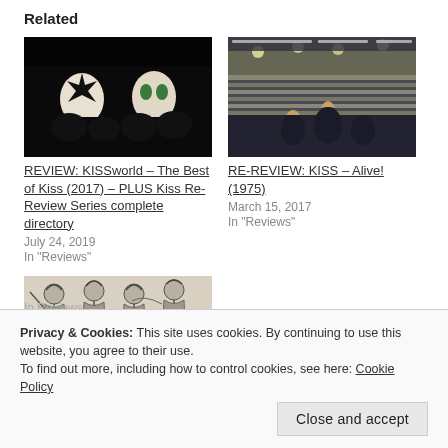Related
[Figure (photo): KISS band members in face paint on dark background with 'KISSworld The Best of Kiss' text]
REVIEW: KISSworld – The Best of Kiss (2017) – PLUS Kiss Re-Review Series complete directory
July 24, 2019
In "Reviews"
[Figure (photo): KISS concert crowd shot from stage at a packed arena]
RE-REVIEW: KISS – Alive! (1975)
March 15, 2017
In "Reviews"
[Figure (photo): Black and white sketch-style image of KISS band members]
In  Reviews
Privacy & Cookies: This site uses cookies. By continuing to use this website, you agree to their use.
To find out more, including how to control cookies, see here: Cookie Policy